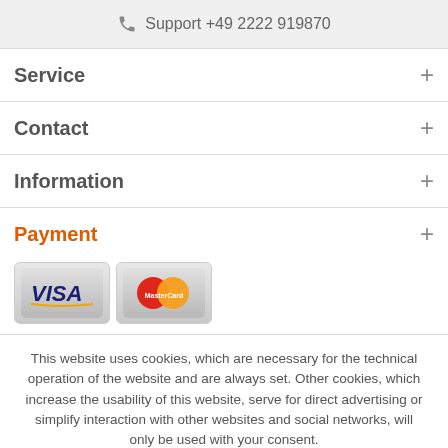Support +49 2222 919870
Service
Contact
Information
Payment
[Figure (logo): VISA and MasterCard payment logos]
This website uses cookies, which are necessary for the technical operation of the website and are always set. Other cookies, which increase the usability of this website, serve for direct advertising or simplify interaction with other websites and social networks, will only be used with your consent.